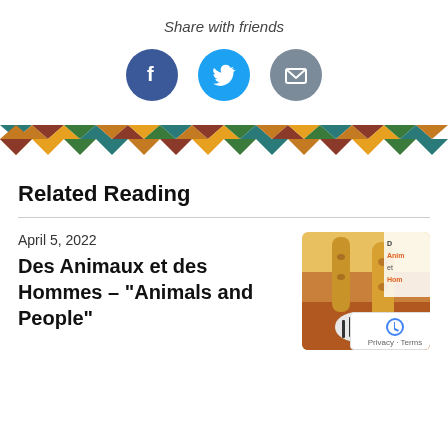Share with friends
[Figure (infographic): Social share buttons: Facebook (dark blue circle with f), Twitter (light blue circle with bird), Email (gray circle with envelope)]
[Figure (illustration): Decorative chevron/zigzag pattern border in multiple colors: teal, orange, brown, green, yellow, red]
Related Reading
April 5, 2022
Des Animaux et des Hommes – "Animals and People"
[Figure (photo): Book cover thumbnail showing giraffes and zebras with orange title text 'Des Animaux et des Hommes']